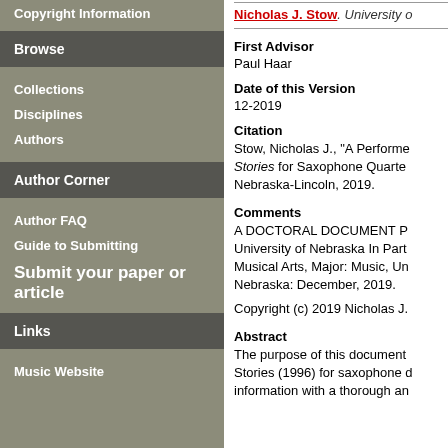Copyright Information
Browse
Collections
Disciplines
Authors
Author Corner
Author FAQ
Guide to Submitting
Submit your paper or article
Links
Music Website
Nicholas J. Stow. University o
First Advisor
Paul Haar
Date of this Version
12-2019
Citation
Stow, Nicholas J., "A Performe Stories for Saxophone Quarte Nebraska-Lincoln, 2019.
Comments
A DOCTORAL DOCUMENT P University of Nebraska In Part Musical Arts, Major: Music, Un Nebraska: December, 2019.
Copyright (c) 2019 Nicholas J.
Abstract
The purpose of this document Stories (1996) for saxophone d information with a thorough an